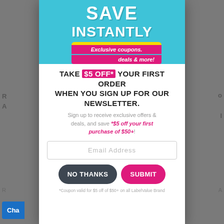[Figure (illustration): Modal popup overlay on a website. Top section shows a light blue banner with 'SAVE INSTANTLY' text and a yellow/pink coupon sticker graphic.]
TAKE $5 OFF* YOUR FIRST ORDER WHEN YOU SIGN UP FOR OUR NEWSLETTER.
Sign up to receive exclusive offers & deals, and save *$5 off your first purchase of $50+!
Email Address
NO THANKS
SUBMIT
*Coupon valid for $5 off of $50+ on all LabelValue Brand